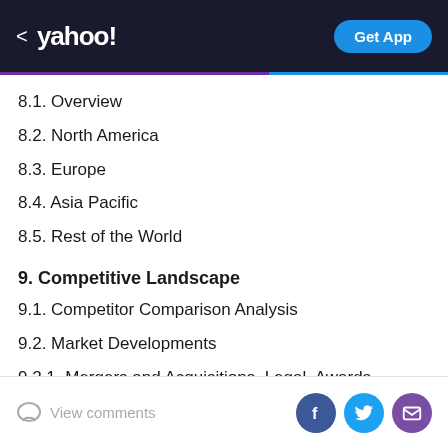< yahoo! | Get App
8.1. Overview
8.2. North America
8.3. Europe
8.4. Asia Pacific
8.5. Rest of the World
9. Competitive Landscape
9.1. Competitor Comparison Analysis
9.2. Market Developments
9.2.1. Mergers and Acquisitions, Legal, Awards, Partnerships
9.2.2. Product Launches and execution
View comments